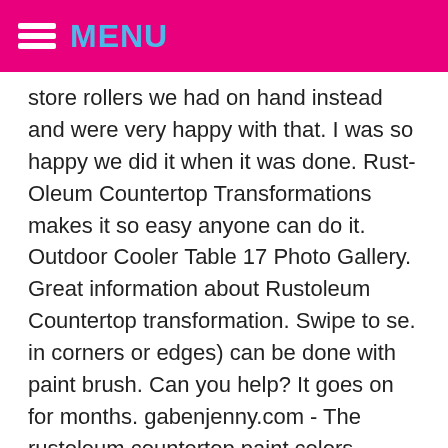MENU
store rollers we had on hand instead and were very happy with that. I was so happy we did it when it was done. Rust-Oleum Countertop Transformations makes it so easy anyone can do it. Outdoor Cooler Table 17 Photo Gallery. Great information about Rustoleum Countertop transformation. Swipe to se. in corners or edges) can be done with paint brush. Can you help? It goes on for months. gabenjenny.com - The rustoleum countertop paint colors inspiration and ideas. Rust-Oleum Countertop Transformations Kit In Black Mica, 1.42 L (covers up to 50 sq.ft.) I read negative things of Giani that in a few years it … Bob Robinson has been a tool enthusiast and lawn care expert for the past 11 years. I want to refinish my formica kitchen counter tops but my formica curls up to the bottom of the top cabinets (appx 16") will the epoxy stay put and not run down the back